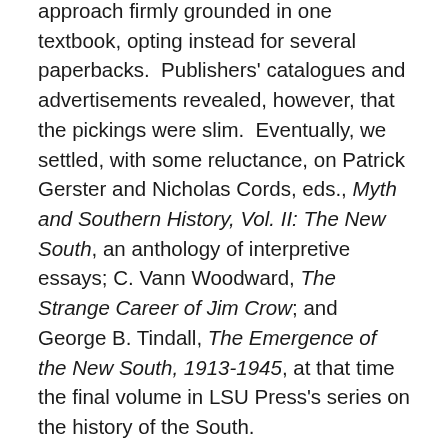approach firmly grounded in one textbook, opting instead for several paperbacks.  Publishers' catalogues and advertisements revealed, however, that the pickings were slim.  Eventually, we settled, with some reluctance, on Patrick Gerster and Nicholas Cords, eds., Myth and Southern History, Vol. II: The New South, an anthology of interpretive essays; C. Vann Woodward, The Strange Career of Jim Crow; and George B. Tindall, The Emergence of the New South, 1913-1945, at that time the final volume in LSU Press's series on the history of the South.
To further a departmental objective that students be taught to view films critically, we supplemented the texts with several documentary and theatrical productions purporting to depict the “South” and the “Southerner.”  Films we chose ran the gamut from “The Autobiography of Miss